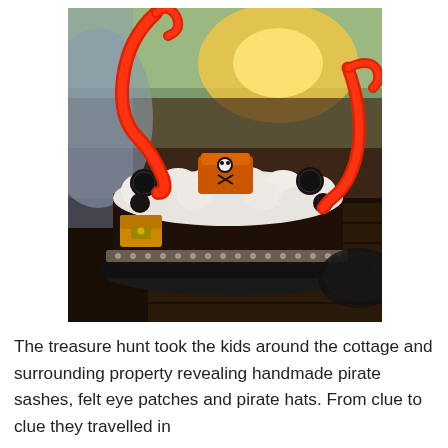[Figure (photo): A pirate-themed chocolate birthday cake decorated with white whipped cream frosting swirls, Oreo cookies, red tentacle candy decorations, a pirate ship candle, and a treasure chest fondant piece, sitting on a dark plate on a wooden deck at sunset.]
The treasure hunt took the kids around the cottage and surrounding property revealing handmade pirate sashes, felt eye patches and pirate hats. From clue to clue they travelled in